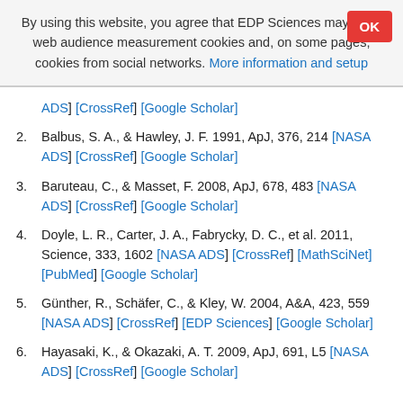By using this website, you agree that EDP Sciences may store web audience measurement cookies and, on some pages, cookies from social networks. More information and setup
[NASA ADS] [CrossRef] [Google Scholar]
2. Balbus, S. A., & Hawley, J. F. 1991, ApJ, 376, 214 [NASA ADS] [CrossRef] [Google Scholar]
3. Baruteau, C., & Masset, F. 2008, ApJ, 678, 483 [NASA ADS] [CrossRef] [Google Scholar]
4. Doyle, L. R., Carter, J. A., Fabrycky, D. C., et al. 2011, Science, 333, 1602 [NASA ADS] [CrossRef] [MathSciNet] [PubMed] [Google Scholar]
5. Günther, R., Schäfer, C., & Kley, W. 2004, A&A, 423, 559 [NASA ADS] [CrossRef] [EDP Sciences] [Google Scholar]
6. Hayasaki, K., & Okazaki, A. T. 2009, ApJ, 691, L5 [NASA ADS] [CrossRef] [Google Scholar]